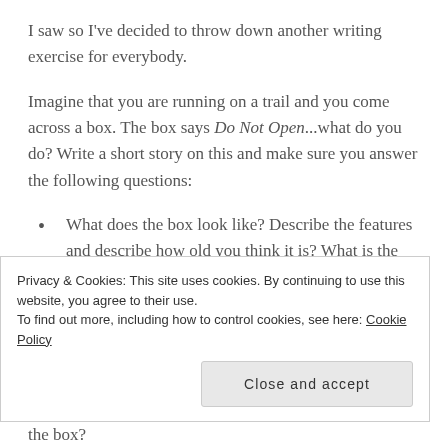I saw so I've decided to throw down another writing exercise for everybody.
Imagine that you are running on a trail and you come across a box. The box says Do Not Open...what do you do? Write a short story on this and make sure you answer the following questions:
What does the box look like? Describe the features and describe how old you think it is? What is the box made of? How big or small is it?
Where were you when you found it? Describe the
Privacy & Cookies: This site uses cookies. By continuing to use this website, you agree to their use. To find out more, including how to control cookies, see here: Cookie Policy
Close and accept
the box?